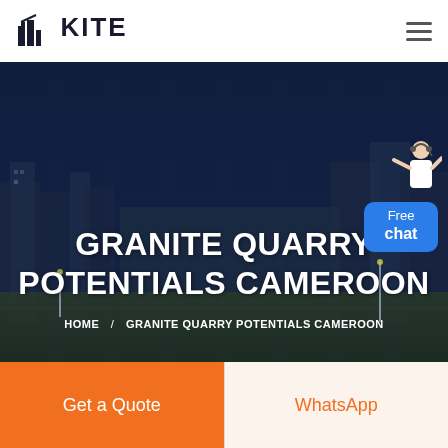KITE
[Figure (screenshot): Hero banner image showing an industrial/urban cityscape with buildings at dusk/night with dark blue overlay. Text overlaid reads 'GRANITE QUARRY POTENTIALS CAMEROON' with breadcrumb navigation 'HOME / GRANITE QUARRY POTENTIALS CAMEROON'. A 'Free chat' customer service widget appears in the top-right corner.]
GRANITE QUARRY POTENTIALS CAMEROON
HOME / GRANITE QUARRY POTENTIALS CAMEROON
Free chat
Get a Quote
WhatsApp